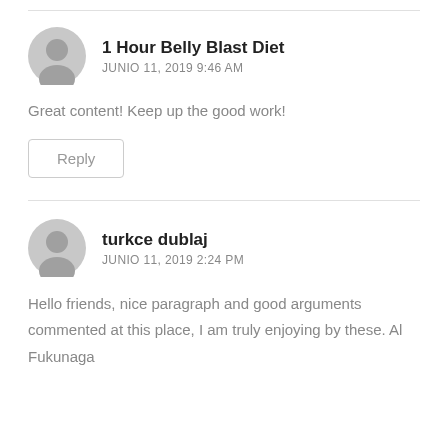1 Hour Belly Blast Diet
JUNIO 11, 2019 9:46 AM
Great content! Keep up the good work!
Reply
turkce dublaj
JUNIO 11, 2019 2:24 PM
Hello friends, nice paragraph and good arguments commented at this place, I am truly enjoying by these. Al Fukunaga